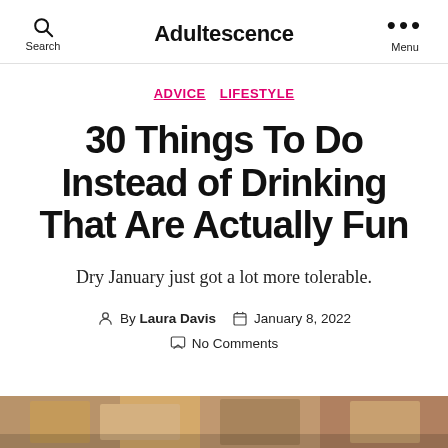Adultescence
ADVICE  LIFESTYLE
30 Things To Do Instead of Drinking That Are Actually Fun
Dry January just got a lot more tolerable.
By Laura Davis  January 8, 2022  No Comments
[Figure (photo): Partial photo strip at bottom of page showing warm-toned food/drink imagery]